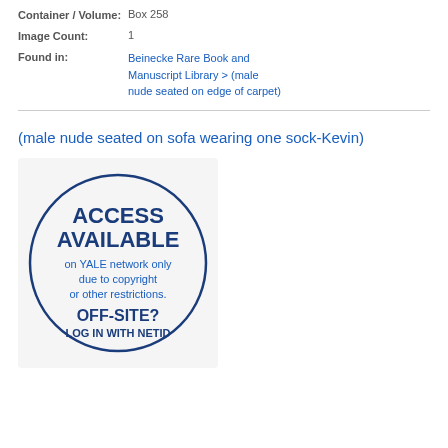Container / Volume: Box 258
Image Count: 1
Found in: Beinecke Rare Book and Manuscript Library > (male nude seated on edge of carpet)
(male nude seated on sofa wearing one sock-Kevin)
[Figure (illustration): Circular badge reading ACCESS AVAILABLE on YALE network only due to copyright or other restrictions. OFF-SITE? LOG IN WITH NETID]